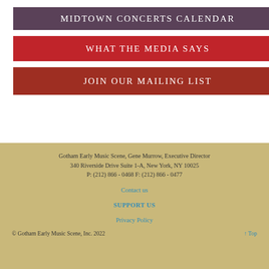MIDTOWN CONCERTS CALENDAR
WHAT THE MEDIA SAYS
JOIN OUR MAILING LIST
Gotham Early Music Scene, Gene Murrow, Executive Director
340 Riverside Drive Suite 1-A, New York, NY 10025
P: (212) 866 - 0468 F: (212) 866 - 0477
Contact us
SUPPORT US
Privacy Policy
© Gotham Early Music Scene, Inc. 2022   ↑ Top